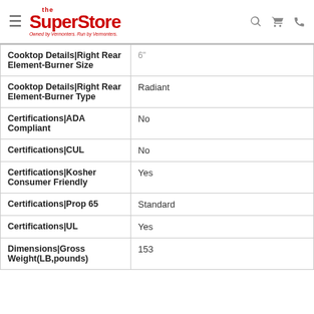the SuperStore — Owned by Vermonters. Run by Vermonters.
| Attribute | Value |
| --- | --- |
| Cooktop Details|Right Rear Element-Burner Size | 6" |
| Cooktop Details|Right Rear Element-Burner Type | Radiant |
| Certifications|ADA Compliant | No |
| Certifications|CUL | No |
| Certifications|Kosher Consumer Friendly | Yes |
| Certifications|Prop 65 | Standard |
| Certifications|UL | Yes |
| Dimensions|Gross Weight(LB,pounds) | 153 |